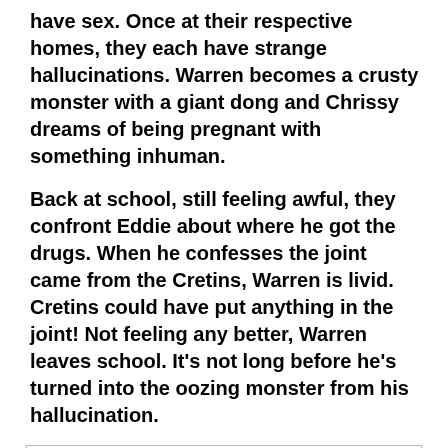have sex. Once at their respective homes, they each have strange hallucinations. Warren becomes a crusty monster with a giant dong and Chrissy dreams of being pregnant with something inhuman.
Back at school, still feeling awful, they confront Eddie about where he got the drugs. When he confesses the joint came from the Cretins, Warren is livid. Cretins could have put anything in the joint! Not feeling any better, Warren leaves school. It’s not long before he’s turned into the oozing monster from his hallucination.
Privacy & Cookies: This site uses cookies. By continuing to use this website, you agree to their use.
To find out more, including how to control cookies, see here: Cookie Policy
two Cretins and knocks Spike unconscious